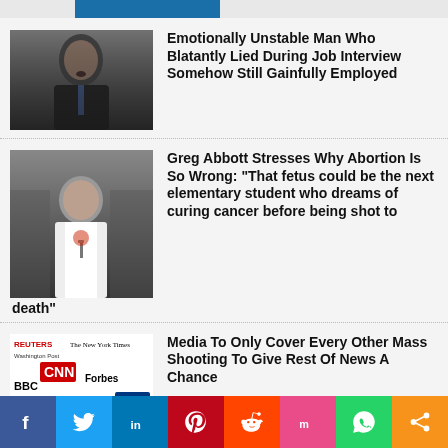Emotionally Unstable Man Who Blatantly Lied During Job Interview Somehow Still Gainfully Employed
Greg Abbott Stresses Why Abortion Is So Wrong: “That fetus could be the next elementary student who dreams of curing cancer before being shot to death”
Media To Only Cover Every Other Mass Shooting To Give Rest Of News A Chance
Police Inform Brett Kavanaugh They...